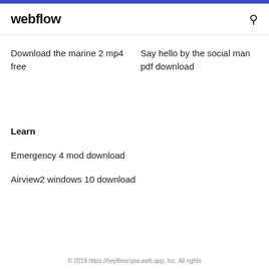webflow
Download the marine 2 mp4 free
Say hello by the social man pdf download
Learn
Emergency 4 mod download
Airview2 windows 10 download
© 2019 https://heyfilesrspw.web.app, Inc. All rights